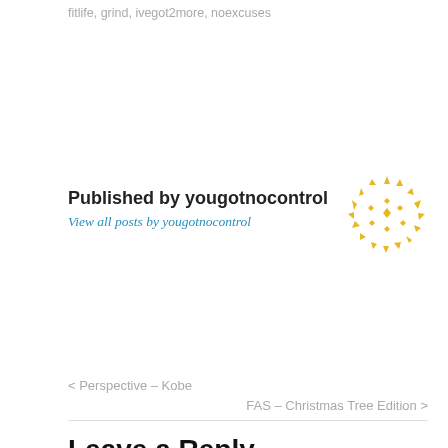fitlife, grind, ivegot2more, noexcuses
Published by yougotnocontrol
View all posts by yougotnocontrol
[Figure (illustration): Circular decorative avatar made of gold/yellow geometric shapes (triangles and diamonds) arranged in a circle pattern]
< Perspective – Kobe
FAS – Christmas Tree Edition >
Leave a Reply
Your email address will not be published. Required